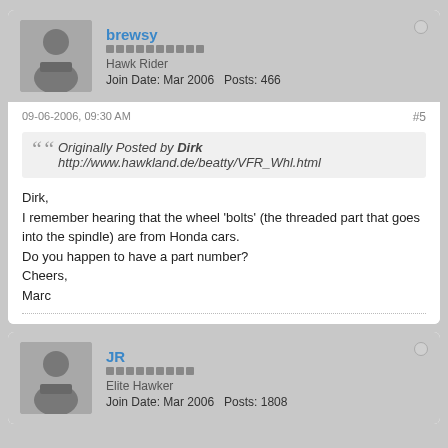brewsy | Hawk Rider | Join Date: Mar 2006 | Posts: 466
09-06-2006, 09:30 AM | #5
Originally Posted by Dirk
http://www.hawkland.de/beatty/VFR_Whl.html
Dirk,
I remember hearing that the wheel 'bolts' (the threaded part that goes into the spindle) are from Honda cars.
Do you happen to have a part number?
Cheers,
Marc
JR | Elite Hawker | Join Date: Mar 2006 | Posts: 1808